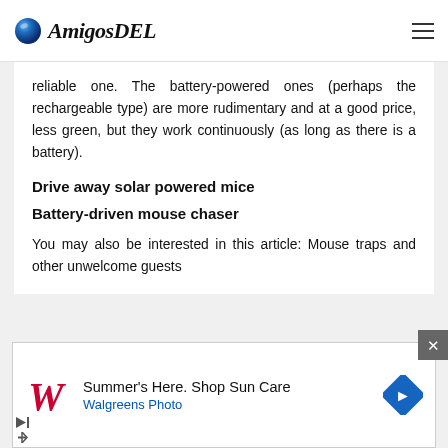AmigosDEL
reliable one. The battery-powered ones (perhaps the rechargeable type) are more rudimentary and at a good price, less green, but they work continuously (as long as there is a battery).
Drive away solar powered mice
Battery-driven mouse chaser
You may also be interested in this article: Mouse traps and other unwelcome guests in the garden
[Figure (screenshot): Walgreens ad banner: red W Walgreens logo, text 'Summer's Here. Shop Sun Care / Walgreens Photo', blue diamond arrow icon, close button X, play/stop controls]